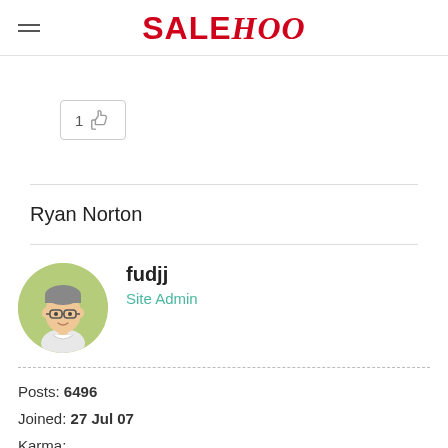SALEHOO
[Figure (illustration): Like button with thumbs up icon showing count of 1]
Ryan Norton
[Figure (illustration): Avatar of user fudjj - cartoon male with glasses on green circle background]
fudjj
Site Admin
Posts: 6496
Joined: 27 Jul 07
Karma:
[Figure (illustration): 4 gold star rating icons]